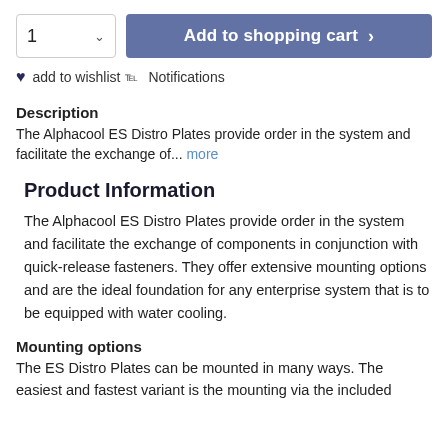1  ˅   Add to shopping cart  >
♥ add to wishlist ⌇ Notifications
Description
The Alphacool ES Distro Plates provide order in the system and facilitate the exchange of... more
Product Information
The Alphacool ES Distro Plates provide order in the system and facilitate the exchange of components in conjunction with quick-release fasteners. They offer extensive mounting options and are the ideal foundation for any enterprise system that is to be equipped with water cooling.
Mounting options
The ES Distro Plates can be mounted in many ways. The easiest and fastest variant is the mounting via the included